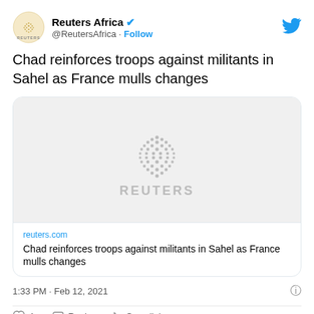Reuters Africa @ReutersAfrica · Follow
Chad reinforces troops against militants in Sahel as France mulls changes
[Figure (screenshot): Reuters placeholder image card with Reuters globe logo and REUTERS text on grey background, linking to reuters.com article 'Chad reinforces troops against militants in Sahel as France mulls changes']
1:33 PM · Feb 12, 2021
4   Reply   Copy link